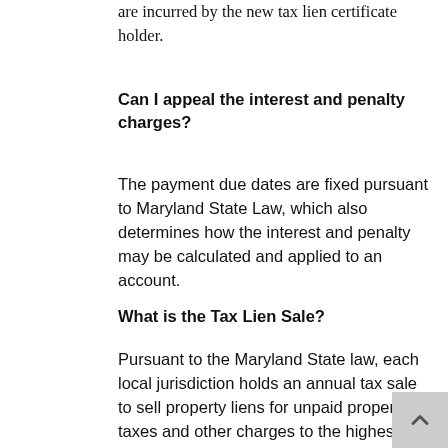are incurred by the new tax lien certificate holder.
Can I appeal the interest and penalty charges?
The payment due dates are fixed pursuant to Maryland State Law, which also determines how the interest and penalty may be calculated and applied to an account.
What is the Tax Lien Sale?
Pursuant to the Maryland State law, each local jurisdiction holds an annual tax sale to sell property liens for unpaid property taxes and other charges to the highest bidder. The new certificate holders, upon being awarded the winning bid, pay the County the outstanding taxes and charges, including any penalty and interest charges. Please note that the County sells the lien on the property,